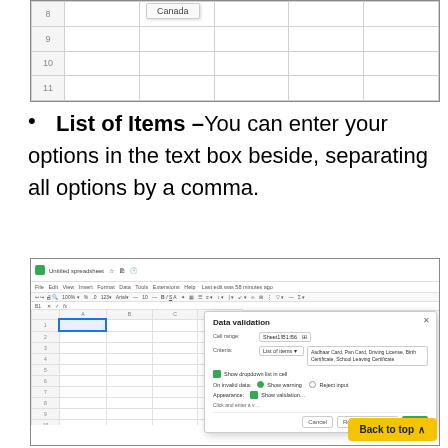[Figure (screenshot): Top portion of a Google Sheets spreadsheet showing row numbers 8, 9, 10, 11 with a dropdown showing 'Canada' in one cell]
List of Items – You can enter your options in the text box beside, separating all options by a comma.
[Figure (screenshot): Google Sheets screenshot showing a Data Validation dialog with 'List of items' criteria selected and items 'Aadhaar Card, Pan Card, Driving License, Birth Certificate, School Leaving Certificate'. A yellow 'Back to top' button is visible in the bottom-right corner.]